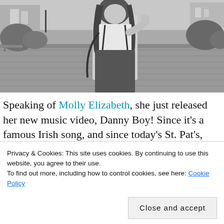[Figure (photo): Black and white photo of a young woman with long dark hair, wearing a white t-shirt and dark skirt with suspenders, carrying a shoulder bag, standing on a cobblestone plaza with trees and buildings in the background.]
Speaking of Molly Elizabeth, she just released her new music video, Danny Boy! Since it's a famous Irish song, and since today's St. Pat's, Have a listen! You'll be glad
Privacy & Cookies: This site uses cookies. By continuing to use this website, you agree to their use.
To find out more, including how to control cookies, see here: Cookie Policy
Close and accept